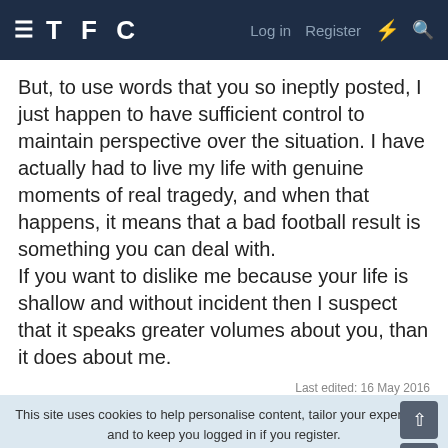TFC  Log in  Register
But, to use words that you so ineptly posted, I just happen to have sufficient control to maintain perspective over the situation. I have actually had to live my life with genuine moments of real tragedy, and when that happens, it means that a bad football result is something you can deal with.
If you want to dislike me because your life is shallow and without incident then I suspect that it speaks greater volumes about you, than it does about me.
Last edited: 16 May 2016
This site uses cookies to help personalise content, tailor your experience and to keep you logged in if you register.
By continuing to use this site, you are consenting to our use of cookies.